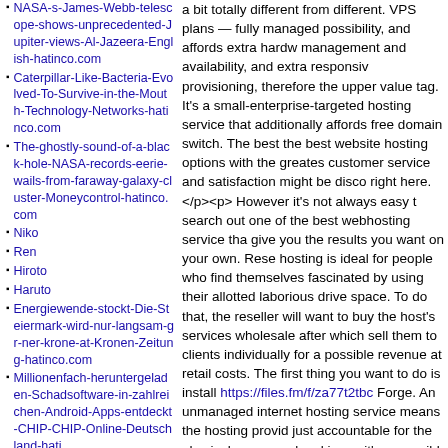NASA-s-James-Webb-telescope-shows-unprecedented-Jupiter-views-Al-Jazeera-English-hatinco.com
Caterpillar-Like-Bacteria-Evolved-To-Survive-in-the-Mouth-Technology-Networks-hatinco.com
The-ghostly-sound-of-a-black-hole-NASA-records-eerie-wails-from-far-away-galaxy-cluster-Moneycontrol-hatinco.com
Niko
Ren
Hiroto
Haruto
Energiewende-stockt-Die-Steiermark-wird-nur-langsam-gr-ner-krone-at-Kronen-Zeitung-hatinco.com
Millionenfach-heruntergeladen-Schadsoftware-in-zahlreichen-Android-Apps-entdeckt-CHIP-CHIP-Online-Deutschland-hati
a bit totally different from different. VPS plans — fully managed possibility, and affords extra hardware management and availability, and extra responsive provisioning, therefore the upper value tag. It's a small-enterprise-targeted hosting service that additionally affords free domain switch. The best the best website hosting options with the greatest customer service and satisfaction might be discovered right here.</p><p> However it's not always easy to search out one of the best webhosting service that give you the results you want on your own. Reseller hosting is ideal for people who find themselves fascinated by using their allotted laborious drive space. To do that, the reseller will want to buy the host's services wholesale after which sell them to clients individually for a possible revenue at retail costs. The first thing you want to do is install https://files.fm/f/za77t2tbc Forge. An unmanaged internet hosting service means the hosting provider just accountable for the physical server and making sure it's accessible -- you may have to take care of maintenance, upgrades and software set up. The best webhosting platform is just a scroll away. WordPress? hosting is an ideal platform for anyone involved in making a custom-built web site. Whether or not you want a private portfolio site for job looking or you would like your small business to have a